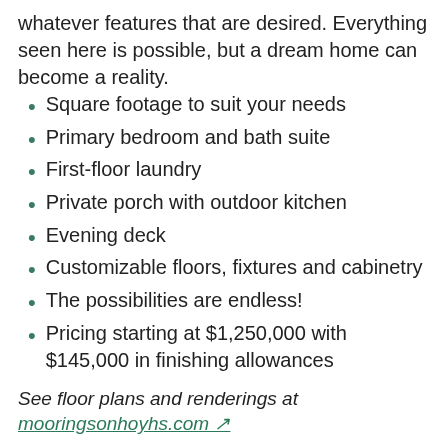whatever features that are desired. Everything seen here is possible, but a dream home can become a reality.
Square footage to suit your needs
Primary bedroom and bath suite
First-floor laundry
Private porch with outdoor kitchen
Evening deck
Customizable floors, fixtures and cabinetry
The possibilities are endless!
Pricing starting at $1,250,000 with $145,000 in finishing allowances
See floor plans and renderings at mooringsonhoyhs.com ↗